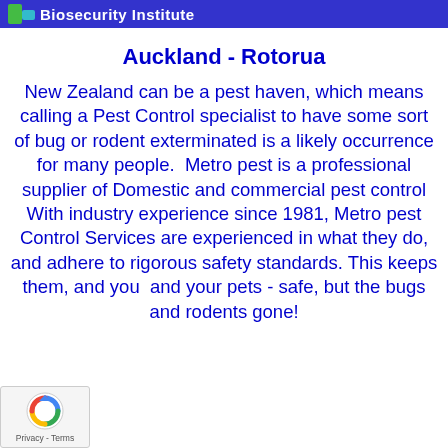Biosecurity Institute
Auckland - Rotorua
New Zealand can be a pest haven, which means calling a Pest Control specialist to have some sort of bug or rodent exterminated is a likely occurrence for many people.  Metro pest is a professional supplier of Domestic and commercial pest control With industry experience since 1981, Metro pest Control Services are experienced in what they do, and adhere to rigorous safety standards. This keeps them, and you  and your pets - safe, but the bugs and rodents gone!
[Figure (logo): reCAPTCHA badge with circular arrow icon and Privacy - Terms text]